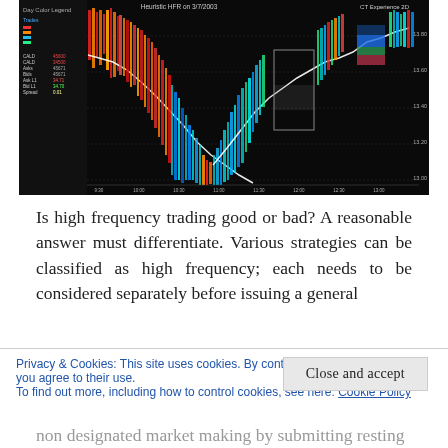[Figure (continuous-plot): High frequency trading order book visualization showing colorful bar chart with red/orange/blue/teal/white bars on black background, resembling market depth or order flow data over time with dramatic V-shaped price movement]
Is high frequency trading good or bad? A reasonable answer must differentiate. Various strategies can be classified as high frequency; each needs to be considered separately before issuing a general
Privacy & Cookies: This site uses cookies. By continuing to use this website, you agree to their use.
To find out more, including how to control cookies, see here: Cookie Policy
Close and accept
non designated market making by submitting resting